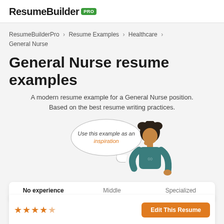ResumeBuilder PRO
ResumeBuilderPro > Resume Examples > Healthcare > General Nurse
General Nurse resume examples
A modern resume example for a General Nurse position. Based on the best resume writing practices.
[Figure (illustration): Illustration of a person with a speech bubble saying 'Use this example as an inspiration']
No experience | Middle | Specialized
★★★★☆  Edit This Resume